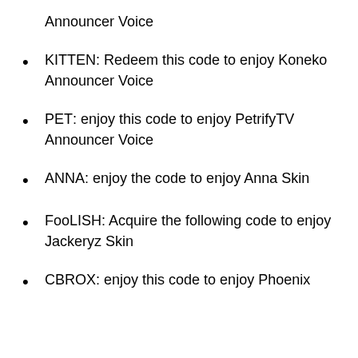Announcer Voice
KITTEN: Redeem this code to enjoy Koneko Announcer Voice
PET: enjoy this code to enjoy PetrifyTV Announcer Voice
ANNA: enjoy the code to enjoy Anna Skin
FooLISH: Acquire the following code to enjoy Jackeryz Skin
CBROX: enjoy this code to enjoy Phoenix